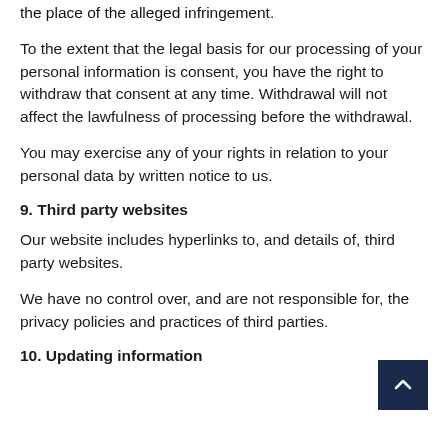the place of the alleged infringement.
To the extent that the legal basis for our processing of your personal information is consent, you have the right to withdraw that consent at any time. Withdrawal will not affect the lawfulness of processing before the withdrawal.
You may exercise any of your rights in relation to your personal data by written notice to us.
9. Third party websites
Our website includes hyperlinks to, and details of, third party websites.
We have no control over, and are not responsible for, the privacy policies and practices of third parties.
10. Updating information